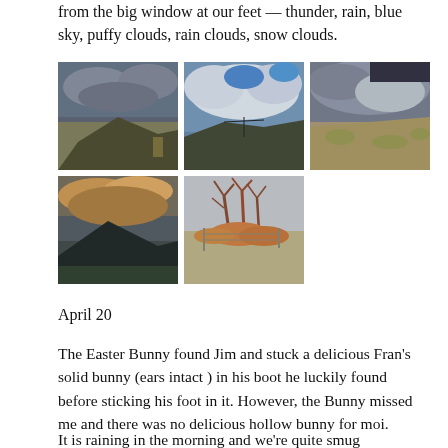from the big window at our feet — thunder, rain, blue sky, puffy clouds, rain clouds, snow clouds.
[Figure (photo): Grid of 5 landscape/sky photos showing various cloud types and desert scenery]
April 20
The Easter Bunny found Jim and stuck a delicious Fran's solid bunny (ears intact ) in his boot he luckily found before sticking his foot in it. However, the Bunny missed me and there was no delicious hollow bunny for moi.
It is raining in the morning and we're quite smug enjoying our